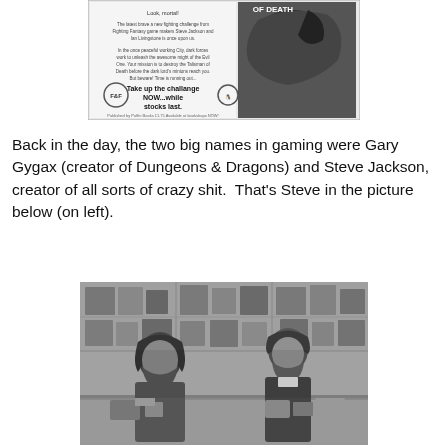[Figure (photo): Black and white advertisement image for a Fighting Fantasy book called 'Talisman of Death', showing the book cover with a dragon and text including 'Take up the challange NOW...while stocks last.' Published by Puffin Books.]
Back in the day, the two big names in gaming were Gary Gygax (creator of Dungeons & Dragons) and Steve Jackson, creator of all sorts of crazy shit.  That's Steve in the picture below (on left).
[Figure (photo): Black and white photograph of two men sitting at a table in what appears to be a game store or convention, with shelves of games and books visible in the background. The man on the left has long hair and a beard, the man on the right also has a beard and is leaning forward.]